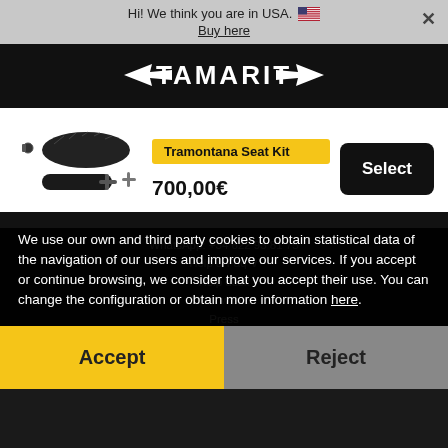Hi! We think you are in USA. 🇺🇸 Buy here ×
[Figure (logo): Tamarit brand logo with wing motifs on black background]
[Figure (photo): Tramontana Seat Kit product image showing seat parts and hardware]
Tramontana Seat Kit
700,00€
Select
WhatsApp: +34 622 93 81 75
Help & Faq ∨
Help desk
Work with us
Press
Affiliates
Downloads
We use our own and third party cookies to obtain statistical data of the navigation of our users and improve our services. If you accept or continue browsing, we consider that you accept their use. You can change the configuration or obtain more information here.
Accept
Reject